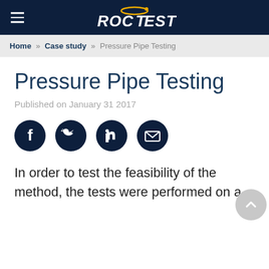ROCTEST
Home » Case study » Pressure Pipe Testing
Pressure Pipe Testing
Published on January 31 2017
[Figure (infographic): Social media sharing icons: Facebook, Twitter, LinkedIn, Email]
In order to test the feasibility of the method, the tests were performed on a